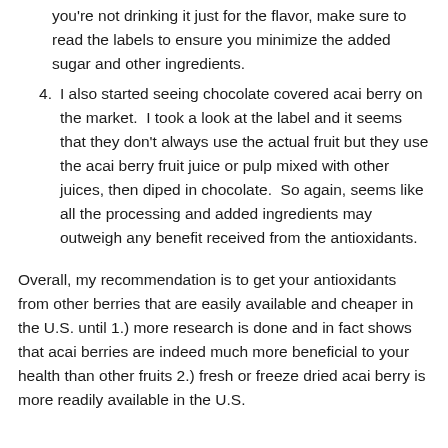you're not drinking it just for the flavor, make sure to read the labels to ensure you minimize the added sugar and other ingredients.
I also started seeing chocolate covered acai berry on the market.  I took a look at the label and it seems that they don't always use the actual fruit but they use the acai berry fruit juice or pulp mixed with other juices, then diped in chocolate.  So again, seems like all the processing and added ingredients may outweigh any benefit received from the antioxidants.
Overall, my recommendation is to get your antioxidants from other berries that are easily available and cheaper in the U.S. until 1.) more research is done and in fact shows that acai berries are indeed much more beneficial to your health than other fruits 2.) fresh or freeze dried acai berry is more readily available in the U.S.